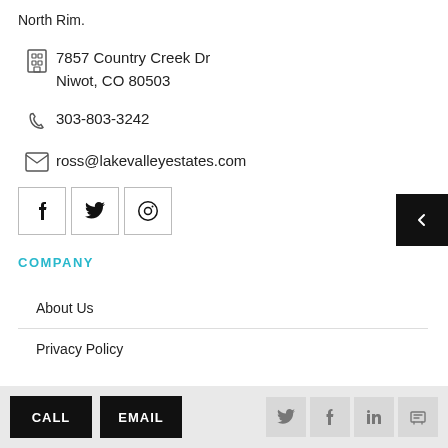North Rim.
7857 Country Creek Dr
Niwot, CO 80503
303-803-3242
ross@lakevalleyestates.com
[Figure (other): Social media share buttons: Facebook, Twitter, Pinterest]
COMPANY
About Us
Privacy Policy
CALL | EMAIL | Twitter | Facebook | LinkedIn | Print